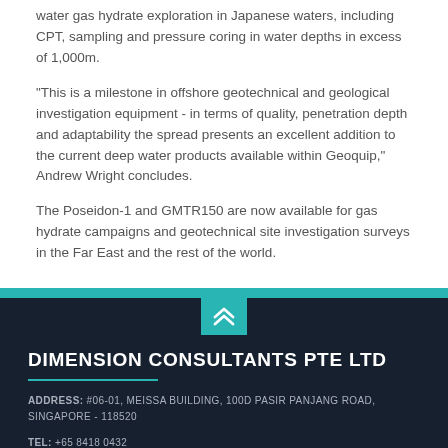water gas hydrate exploration in Japanese waters, including CPT, sampling and pressure coring in water depths in excess of 1,000m.
“This is a milestone in offshore geotechnical and geological investigation equipment - in terms of quality, penetration depth and adaptability the spread presents an excellent addition to the current deep water products available within Geoquip,” Andrew Wright concludes.
The Poseidon-1 and GMTR150 are now available for gas hydrate campaigns and geotechnical site investigation surveys in the Far East and the rest of the world.
DIMENSION CONSULTANTS PTE LTD
ADDRESS: #06-01, MEISSA BUILDING, 100D PASIR PANJANG ROAD, SINGAPORE - 118520
TEL: +65 8418 0432
WEBSITE: WWW.DIMENSION.SG